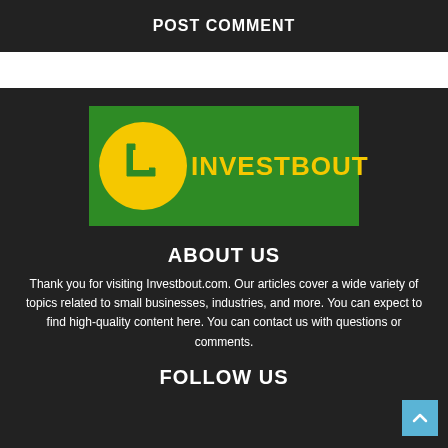POST COMMENT
[Figure (logo): Investbout logo: green rectangle background with yellow circle containing a stylized L shape, and text INVESTBOUT in yellow bold letters]
ABOUT US
Thank you for visiting Investbout.com. Our articles cover a wide variety of topics related to small businesses, industries, and more. You can expect to find high-quality content here. You can contact us with questions or comments.
FOLLOW US